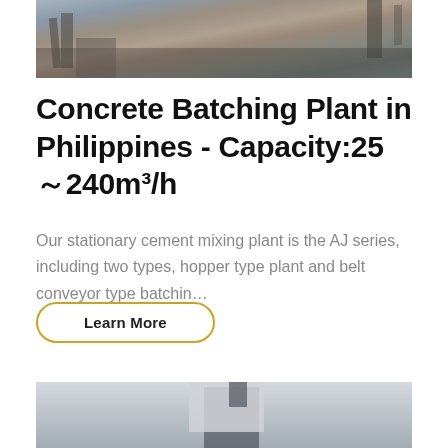[Figure (photo): Aerial/ground view of a concrete batching plant facility in the Philippines, showing heavy industrial machinery and equipment on a construction site]
Concrete Batching Plant in Philippines - Capacity:25～240m³/h
Our stationary cement mixing plant is the AJ series, including two types, hopper type plant and belt conveyor type batchin…
Learn More
[Figure (photo): Industrial asphalt or concrete batching plant tower structure with scaffolding, red structural supports, and large cylindrical/rectangular mixing units]